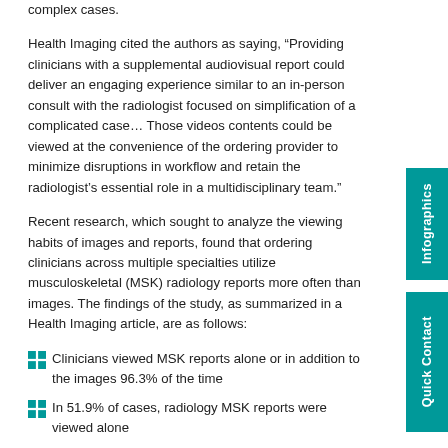complex cases.
Health Imaging cited the authors as saying, “Providing clinicians with a supplemental audiovisual report could deliver an engaging experience similar to an in-person consult with the radiologist focused on simplification of a complicated case… Those videos contents could be viewed at the convenience of the ordering provider to minimize disruptions in workflow and retain the radiologist’s essential role in a multidisciplinary team.”
Recent research, which sought to analyze the viewing habits of images and reports, found that ordering clinicians across multiple specialties utilize musculoskeletal (MSK) radiology reports more often than images. The findings of the study, as summarized in a Health Imaging article, are as follows:
Clinicians viewed MSK reports alone or in addition to the images 96.3% of the time
In 51.9% of cases, radiology MSK reports were viewed alone
Providers accessed images by themselves without viewing